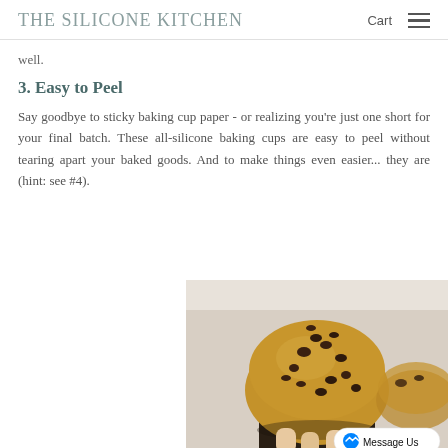THE SILICONE KITCHEN  Cart  ≡
well.
3. Easy to Peel
Say goodbye to sticky baking cup paper - or realizing you're just one short for your final batch. These all-silicone baking cups are easy to peel without tearing apart your baked goods. And to make things even easier... they are (hint: see #4).
[Figure (photo): A chocolate chip muffin held in fingers, close-up photo, with a 'Message Us' button overlay in bottom right corner.]